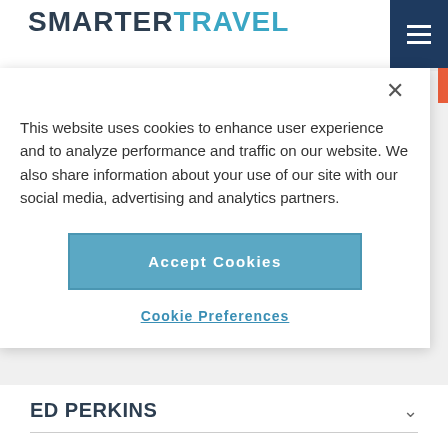SMARTERTRAVEL
This website uses cookies to enhance user experience and to analyze performance and traffic on our website. We also share information about your use of our site with our social media, advertising and analytics partners.
Accept Cookies
Cookie Preferences
ED PERKINS
“How safe is air travel?” The relentless media